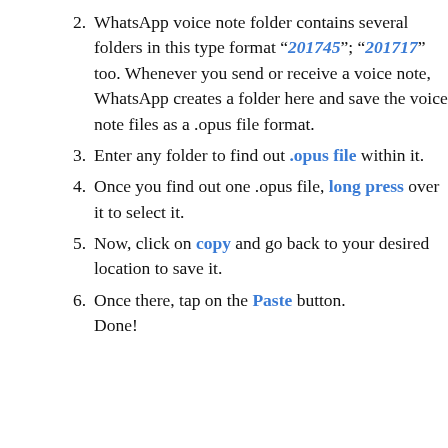2. WhatsApp voice note folder contains several folders in this type format “201745”; “201717” too. Whenever you send or receive a voice note, WhatsApp creates a folder here and save the voice note files as a .opus file format.
3. Enter any folder to find out .opus file within it.
4. Once you find out one .opus file, long press over it to select it.
5. Now, click on copy and go back to your desired location to save it.
6. Once there, tap on the Paste button. Done!